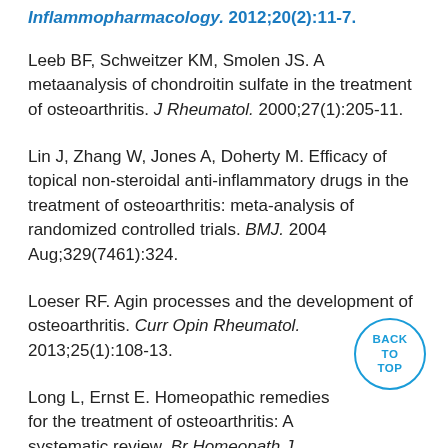Inflammopharmacology. 2012;21(1):11-7.
Leeb BF, Schweitzer KM, Smolen JS. A metaanalysis of chondroitin sulfate in the treatment of osteoarthritis. J Rheumatol. 2000;27(1):205-11.
Lin J, Zhang W, Jones A, Doherty M. Efficacy of topical non-steroidal anti-inflammatory drugs in the treatment of osteoarthritis: meta-analysis of randomized controlled trials. BMJ. 2004 Aug;329(7461):324.
Loeser RF. Agin processes and the development of osteoarthritis. Curr Opin Rheumatol. 2013;25(1):108-13.
Long L, Ernst E. Homeopathic remedies for the treatment of osteoarthritis: A systematic review. Br Homeopath J. 2001;90:37-43.